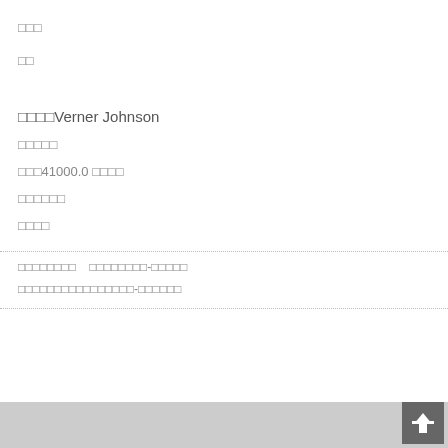□□□
□□
□□□□Verner Johnson
□□□□□
□□□41000.0 □□□□
□□□□□□
□□□□
□□□□□□□□   □□□□□□□□-□□□□□
□□□□□□□□□□□□□□□□-□□□□□□